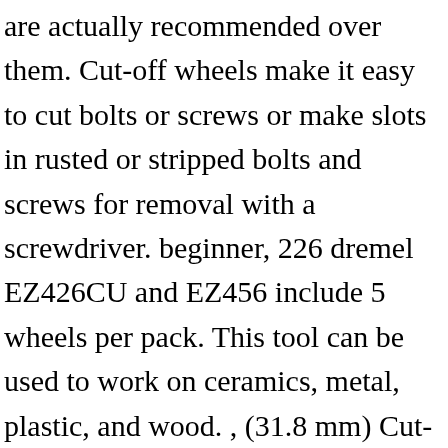are actually recommended over them. Cut-off wheels make it easy to cut bolts or screws or make slots in rusted or stripped bolts and screws for removal with a screwdriver. beginner, 226 dremel EZ426CU and EZ456 include 5 wheels per pack. This tool can be used to work on ceramics, metal, plastic, and wood. , (31.8 mm) Cut-off Wheel. Dremel 426 1-1/4 In. PROJECTS, MM440B Bulk Pack, 3/4” Wood Flush Cut Blade. (23.8 mm) Cut-Off Wheel. The Court, in its per curiam, ante at 426 U. S. 664, now concedes that the "injuries to